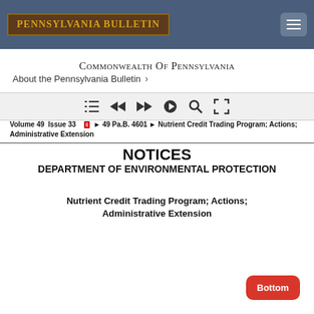PENNSYLVANIA BULLETIN
Commonwealth Of Pennsylvania
About the Pennsylvania Bulletin ›
[Figure (other): Navigation toolbar with icons: list, rewind, forward, share, search, fullscreen]
Volume 49  Issue 33  ► 49 Pa.B. 4601 ► Nutrient Credit Trading Program; Actions; Administrative Extension
NOTICES
DEPARTMENT OF ENVIRONMENTAL PROTECTION
Nutrient Credit Trading Program; Actions; Administrative Extension